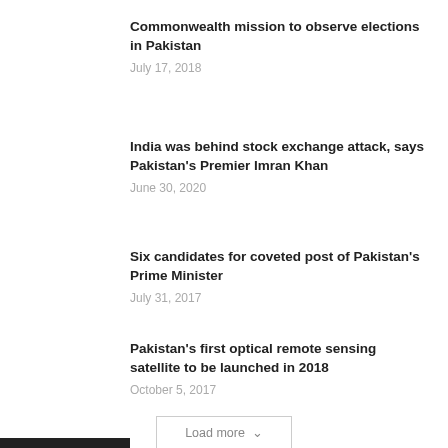Commonwealth mission to observe elections in Pakistan
July 17, 2018
India was behind stock exchange attack, says Pakistan's Premier Imran Khan
June 30, 2020
Six candidates for coveted post of Pakistan's Prime Minister
July 31, 2017
Pakistan's first optical remote sensing satellite to be launched in 2018
October 5, 2017